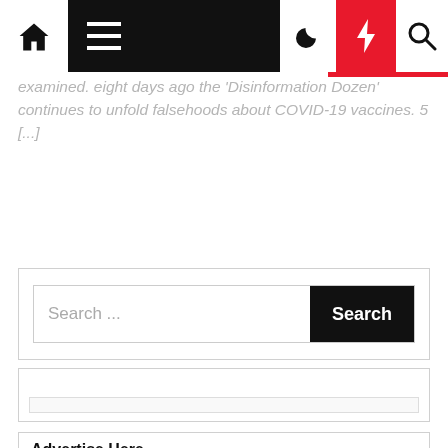Navigation bar with home, menu, dark mode, lightning, and search icons
examined. eight days ago the ‘Disinformation Dozen’ continues to unfold falsehoods about COVID-19 vaccines. 5 [...]
Search ...
Advertise Here